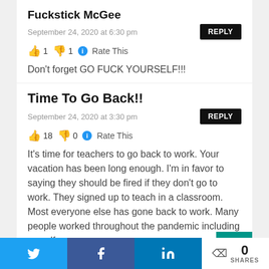Fuckstick McGee
September 24, 2020 at 6:30 pm
REPLY
👍 1 👎 1 ℹ Rate This
Don't forget GO FUCK YOURSELF!!!
Time To Go Back!!
September 24, 2020 at 3:30 pm
REPLY
👍 18 👎 0 ℹ Rate This
It's time for teachers to go back to work. Your vacation has been long enough. I'm in favor to saying they should be fired if they don't go to work. They signed up to teach in a classroom. Most everyone else has gone back to work. Many people worked throughout the pandemic including myself